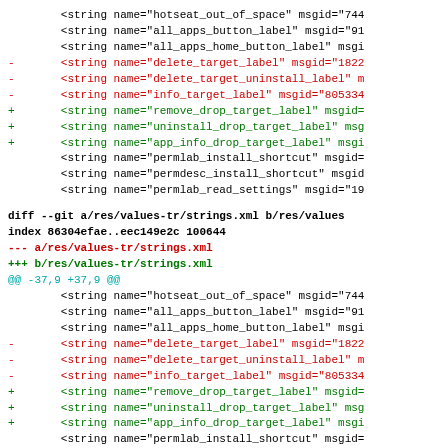Code diff showing changes to strings.xml files with removed delete_target and info_target labels replaced by remove_drop_target, uninstall_drop_target, and app_info_drop_target labels.
diff --git a/res/values-tr/strings.xml b/res/values...
index 86304efae..eec149e2c 100644
--- a/res/values-tr/strings.xml
+++ b/res/values-tr/strings.xml
@@ -37,9 +37,9 @@